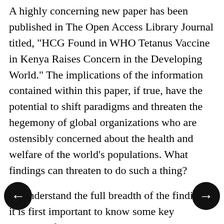A highly concerning new paper has been published in The Open Access Library Journal titled, "HCG Found in WHO Tetanus Vaccine in Kenya Raises Concern in the Developing World." The implications of the information contained within this paper, if true, have the potential to shift paradigms and threaten the hegemony of global organizations who are ostensibly concerned about the health and welfare of the world's populations. What findings can threaten to do such a thing?
To understand the full breadth of the findings, it is first important to know some key historical facts. The World Health Organization was established in 1945 and immediately embraced the tenet of family planning, which would later transform to...